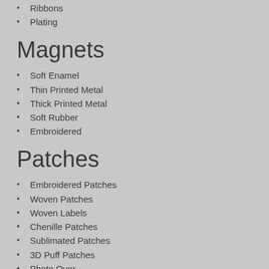Ribbons
Plating
Magnets
Soft Enamel
Thin Printed Metal
Thick Printed Metal
Soft Rubber
Embroidered
Patches
Embroidered Patches
Woven Patches
Woven Labels
Chenille Patches
Sublimated Patches
3D Puff Patches
Photo Over
Tackle Twill
Leather Patches
Leather Labels
Soft Rubber Patches